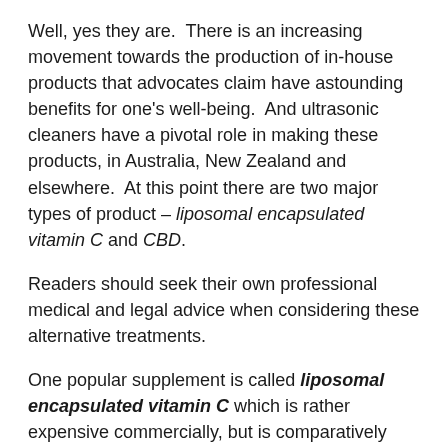Well, yes they are.  There is an increasing movement towards the production of in-house products that advocates claim have astounding benefits for one's well-being.  And ultrasonic cleaners have a pivotal role in making these products, in Australia, New Zealand and elsewhere.  At this point there are two major types of product – liposomal encapsulated vitamin C and CBD.
Readers should seek their own professional medical and legal advice when considering these alternative treatments.
One popular supplement is called liposomal encapsulated vitamin C which is rather expensive commercially, but is comparatively cheap if made at home.  The literature claims that taken orally, the efficacy of liposomal encapsulated vitamin C is comparable to IV